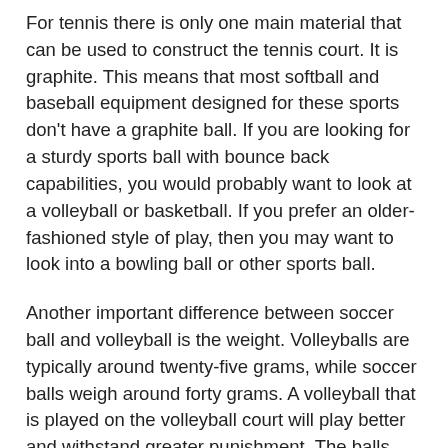For tennis there is only one main material that can be used to construct the tennis court. It is graphite. This means that most softball and baseball equipment designed for these sports don't have a graphite ball. If you are looking for a sturdy sports ball with bounce back capabilities, you would probably want to look at a volleyball or basketball. If you prefer an older-fashioned style of play, then you may want to look into a bowling ball or other sports ball.
Another important difference between soccer ball and volleyball is the weight. Volleyballs are typically around twenty-five grams, while soccer balls weigh around forty grams. A volleyball that is played on the volleyball court will play better and withstand greater punishment. The balls used in baseball and softball games also vary a great deal in weight, with some falling between thirty to one hundred grams. Additionally, the balls are available in a variety of